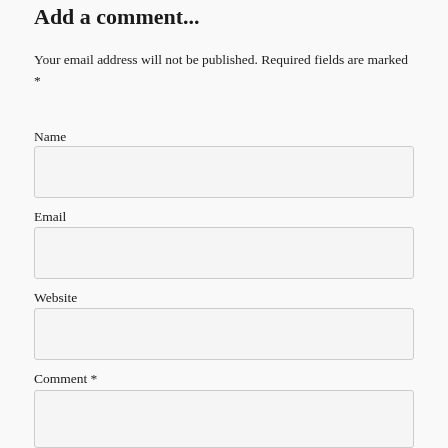Add a comment...
Your email address will not be published. Required fields are marked *
Name
Email
Website
Comment *